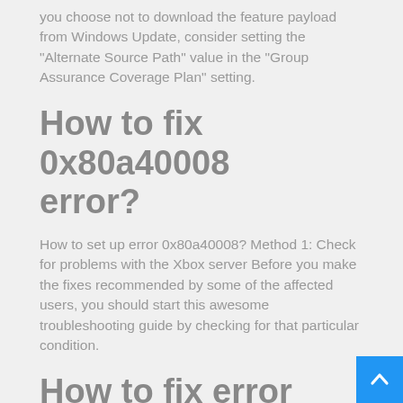you choose not to download the feature payload from Windows Update, consider setting the “Alternate Source Path” value in the “Group Assurance Coverage Plan” setting.
How to fix 0x80a40008 error?
How to set up error 0x80a40008? Method 1: Check for problems with the Xbox server Before you make the fixes recommended by some of the affected users, you should start this awesome troubleshooting guide by checking for that particular condition.
How to fix error 0x800f0908 in Windows 10?